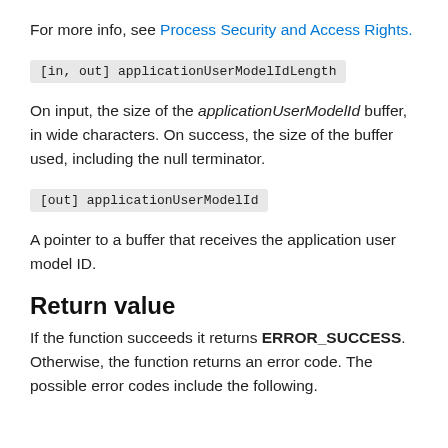For more info, see Process Security and Access Rights.
[in, out] applicationUserModelIdLength
On input, the size of the applicationUserModelId buffer, in wide characters. On success, the size of the buffer used, including the null terminator.
[out] applicationUserModelId
A pointer to a buffer that receives the application user model ID.
Return value
If the function succeeds it returns ERROR_SUCCESS. Otherwise, the function returns an error code. The possible error codes include the following.